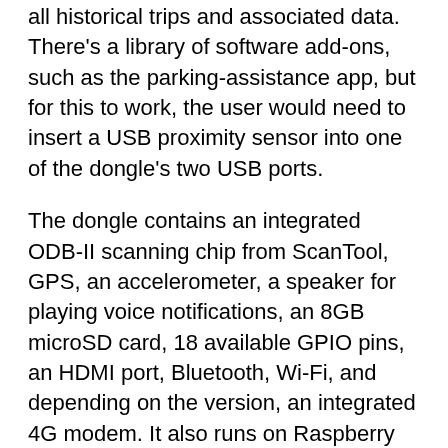all historical trips and associated data. There's a library of software add-ons, such as the parking-assistance app, but for this to work, the user would need to insert a USB proximity sensor into one of the dongle's two USB ports.
The dongle contains an integrated ODB-II scanning chip from ScanTool, GPS, an accelerometer, a speaker for playing voice notifications, an 8GB microSD card, 18 available GPIO pins, an HDMI port, Bluetooth, Wi-Fi, and depending on the version, an integrated 4G modem. It also runs on Raspberry Pi's Raspbian OS pre-installed with AutoPi's software.
AutoPi is aiming to raise $76,000 to launch the product with reward levels starting at $245